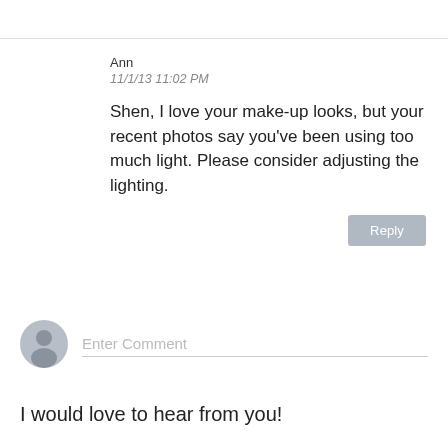Ann
11/1/13 11:02 PM
Shen, I love your make-up looks, but your recent photos say you've been using too much light. Please consider adjusting the lighting.
Reply
[Figure (illustration): User avatar placeholder icon — gray silhouette of a person in a circle]
Enter Comment
I would love to hear from you!